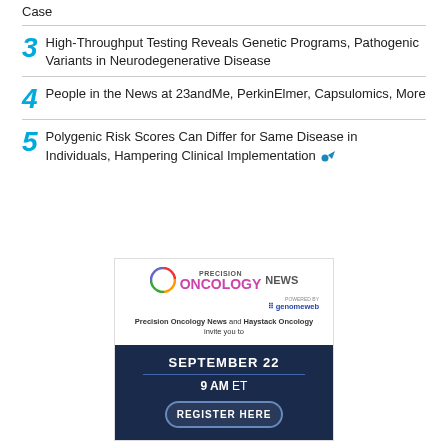Case
3  High-Throughput Testing Reveals Genetic Programs, Pathogenic Variants in Neurodegenerative Disease
4  People in the News at 23andMe, PerkinElmer, Capsulomics, More
5  Polygenic Risk Scores Can Differ for Same Disease in Individuals, Hampering Clinical Implementation
[Figure (infographic): Precision Oncology News advertisement powered by GenomeWeb. Invites to a September 22 event at 9 AM ET with a Register Here button.]